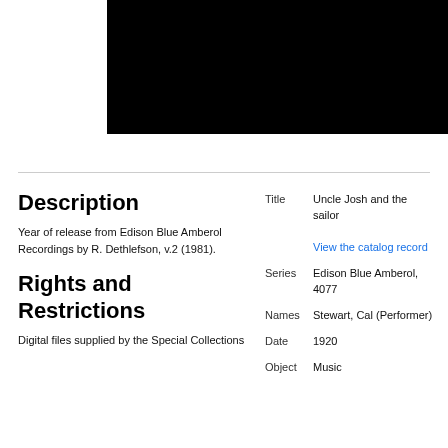[Figure (photo): Black rectangle representing a media/audio record image area]
Description
Year of release from Edison Blue Amberol Recordings by R. Dethlefson, v.2 (1981).
Rights and Restrictions
Digital files supplied by the Special Collections
| Field | Value |
| --- | --- |
| Title | Uncle Josh and the sailor |
|  | View the catalog record |
| Series | Edison Blue Amberol, 4077 |
| Names | Stewart, Cal (Performer) |
| Date | 1920 |
| Object | Music |